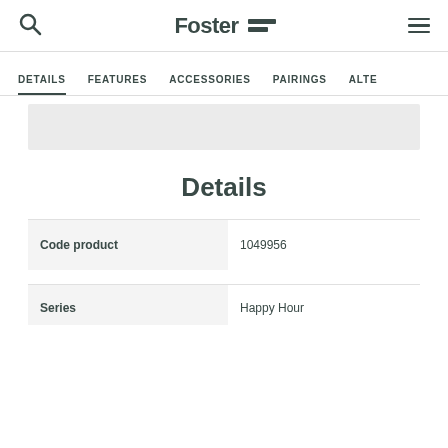Foster
DETAILS  FEATURES  ACCESSORIES  PAIRINGS  ALTE
Details
|  |  |
| --- | --- |
| Code product | 1049956 |
| Series | Happy Hour |